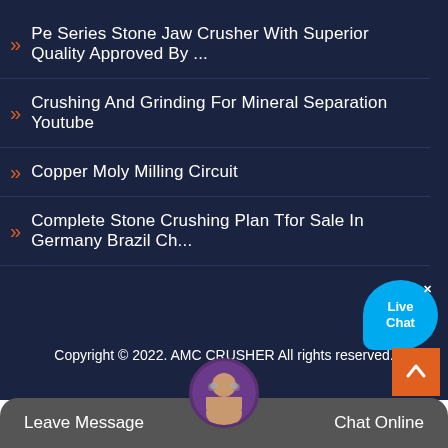Pe Series Stone Jaw Crusher With Superior Quality Approved By ...
Crushing And Grinding For Mineral Separation Youtube
Copper Moly Milling Circuit
Complete Stone Crushing Plan Tfor Sale In Germany Brazil Ch...
[Figure (illustration): Live Chat speech bubble button with close X, cyan/blue color]
Copyright © 2022. AMC CRUSHER All rights reserved.
Sitemap
[Figure (illustration): Orange scroll-to-top button with upward chevron arrow]
[Figure (illustration): Bottom bar with Leave Message on left, Chat Online on right, and agent avatar in center]